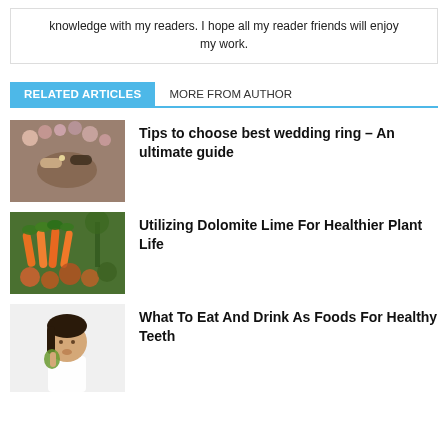knowledge with my readers. I hope all my reader friends will enjoy my work.
RELATED ARTICLES   MORE FROM AUTHOR
[Figure (photo): Two people exchanging wedding rings, with flowers in background]
Tips to choose best wedding ring – An ultimate guide
[Figure (photo): Colorful vegetables and plants on a surface]
Utilizing Dolomite Lime For Healthier Plant Life
[Figure (photo): Young woman eating or drinking something healthy]
What To Eat And Drink As Foods For Healthy Teeth